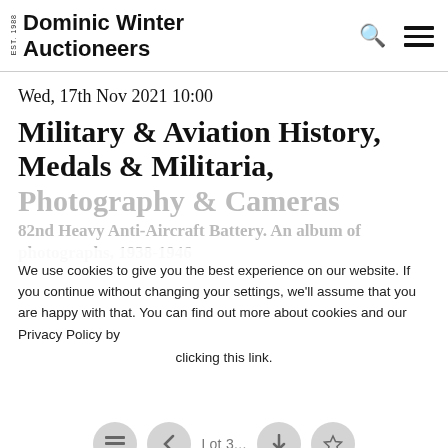Dominic Winter Auctioneers EST. 1988
Wed, 17th Nov 2021 10:00
Military & Aviation History, Medals & Militaria,
Photography & Cameras
82nd Heavy Anti-Aircraft Battery. An album of photographs, 1938-1946
We use cookies to give you the best experience on our website. If you continue without changing your settings, we'll assume that you are happy with that. You can find out more about cookies and our Privacy Policy by clicking this link.
Lot 3...
Ok